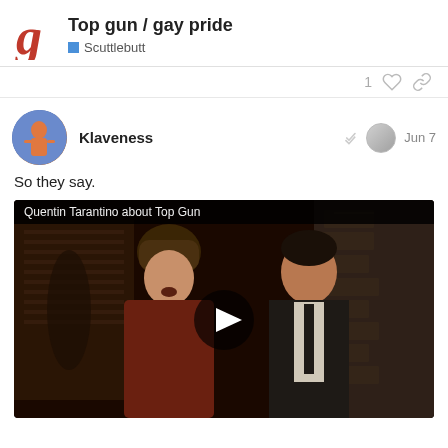Top gun / gay pride — Scuttlebutt
1 (like) (link)
Klaveness — Jun 7
So they say.
[Figure (screenshot): Embedded video player showing 'Quentin Tarantino about Top Gun' with a play button overlay. The thumbnail shows two men talking in what appears to be a restaurant scene.]